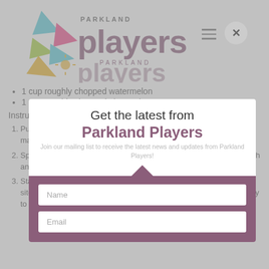[Figure (logo): Parkland Players logo with colorful geometric shapes and text]
1 cup roughly chopped watermelon
1 cup roughly chopped pineapple
Instructions
1. Puree one fruit at a time in a small food processor, rinsing the machine out in between fruits.
2. Spoon a layer of fruit to the bottom of a Popsicle and then repeat with another layer and another fruit.
3. Stand a stick upright in each Popsicle and freeze. Note that source site recommends freezing in between layers and this may be the way to go.
Get the latest from Parkland Players
Join our mailing list to receive the latest news and updates from Parkland Players!
Name
Email